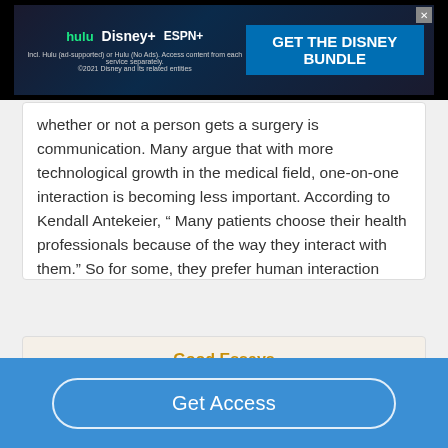[Figure (screenshot): Disney Bundle advertisement banner with Hulu, Disney+, ESPN+ logos and 'GET THE DISNEY BUNDLE' call to action]
whether or not a person gets a surgery is communication. Many argue that with more technological growth in the medical field, one-on-one interaction is becoming less important. According to Kendall Antekeier, “ Many patients choose their health professionals because of the way they interact with them.” So for some, they prefer human interaction over technology.…
Read More
Good Essays
Get Access